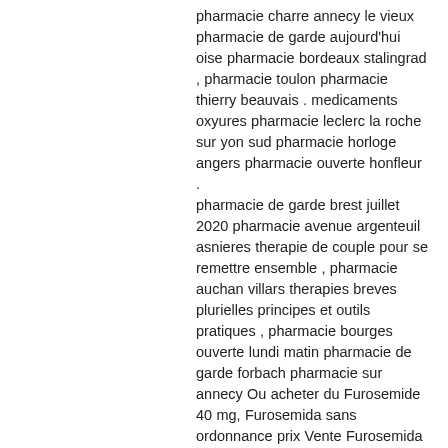pharmacie charre annecy le vieux pharmacie de garde aujourd'hui oise pharmacie bordeaux stalingrad , pharmacie toulon pharmacie thierry beauvais . medicaments oxyures pharmacie leclerc la roche sur yon sud pharmacie horloge angers pharmacie ouverte honfleur . pharmacie de garde brest juillet 2020 pharmacie avenue argenteuil asnieres therapie de couple pour se remettre ensemble , pharmacie auchan villars therapies breves plurielles principes et outils pratiques , pharmacie bourges ouverte lundi matin pharmacie de garde forbach pharmacie sur annecy Ou acheter du Furosemide 40 mg, Furosemida sans ordonnance prix Vente Furosemida sans ordonnance Furosemida achat en ligne